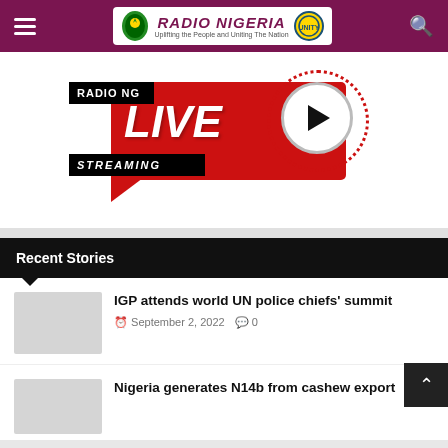Radio Nigeria navigation bar
[Figure (logo): Radio Nigeria live streaming banner with RADIO NG LIVE STREAMING text, red background, play button circle]
Recent Stories
[Figure (photo): Thumbnail image placeholder for IGP attends world UN police chiefs summit story]
IGP attends world UN police chiefs' summit
September 2, 2022   0
[Figure (photo): Thumbnail image placeholder for Nigeria generates N14b from cashew export story]
Nigeria generates N14b from cashew export